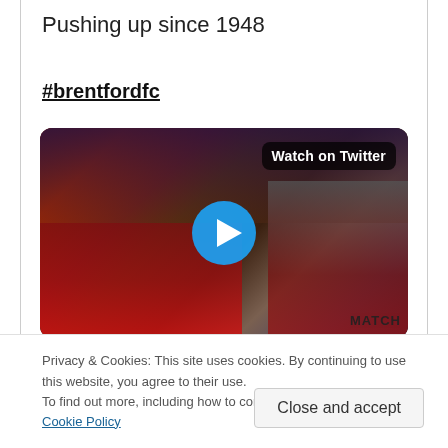Pushing up since 1948
#brentfordfc
[Figure (screenshot): Video thumbnail showing people in a pub/bar setting wearing red football jerseys. A blue circular play button is centered on the image. A 'Watch on Twitter' badge appears in the top right corner. 'MATCH' text partially visible bottom right.]
Privacy & Cookies: This site uses cookies. By continuing to use this website, you agree to their use.
To find out more, including how to control cookies, see here: Cookie Policy
Close and accept